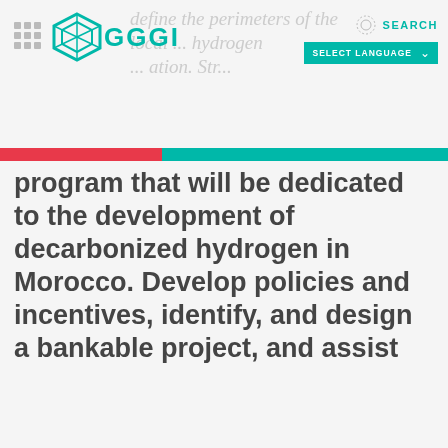GGGI
program that will be dedicated to the development of decarbonized hydrogen in Morocco. Develop policies and incentives, identify, and design a bankable project, and assist
We use cookies on our website to give you the most relevant experience by remembering your preferences and repeat visits. By clicking "Accept All", you consent to the use of ALL the cookies. However, you may visit "Cookie Settings" to provide a controlled consent.